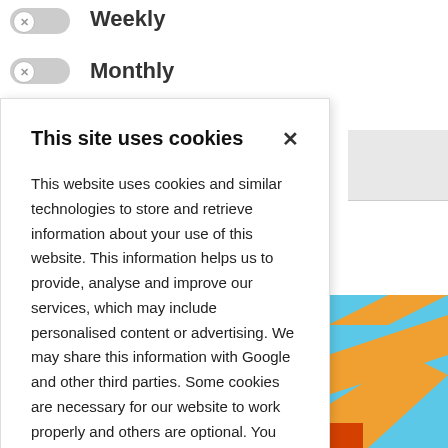Weekly
Monthly
This site uses cookies
This website uses cookies and similar technologies to store and retrieve information about your use of this website. This information helps us to provide, analyse and improve our services, which may include personalised content or advertising. We may share this information with Google and other third parties. Some cookies are necessary for our website to work properly and others are optional. You can review and configure your cookie settings below.
OK
COOKIE SETTINGS